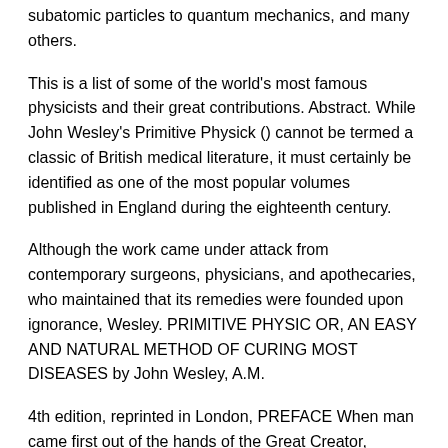subatomic particles to quantum mechanics, and many others.
This is a list of some of the world's most famous physicists and their great contributions. Abstract. While John Wesley's Primitive Physick () cannot be termed a classic of British medical literature, it must certainly be identified as one of the most popular volumes published in England during the eighteenth century.
Although the work came under attack from contemporary surgeons, physicians, and apothecaries, who maintained that its remedies were founded upon ignorance, Wesley. PRIMITIVE PHYSIC OR, AN EASY AND NATURAL METHOD OF CURING MOST DISEASES by John Wesley, A.M.
4th edition, reprinted in London, PREFACE When man came first out of the hands of the Great Creator, clothed in body, as well as in soul, with immortality and incorruption, there was no place for physic, or the art of Size: KB. Types of Medieval Doctors. Medieval doctors were small in number as to qualify as a medical doctor was not an easy task in medieval times.